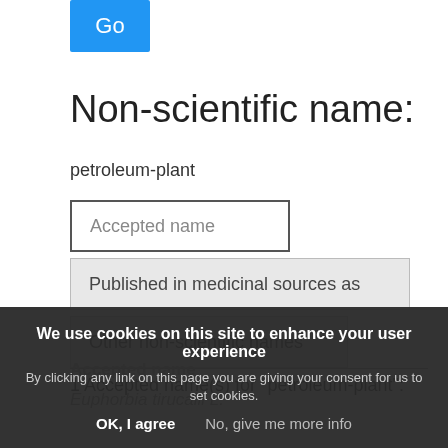[Figure (screenshot): Blue 'Go' button]
Non-scientific name:
petroleum-plant
Accepted name
Published in medicinal sources as
Other non-scientific names
1 Accepted name(s) for "petroleum-plant":
Accepted name
Euphorbia tirucalli L.
We use cookies on this site to enhance your user experience
By clicking any link on this page you are giving your consent for us to set cookies.
OK, I agree    No, give me more info